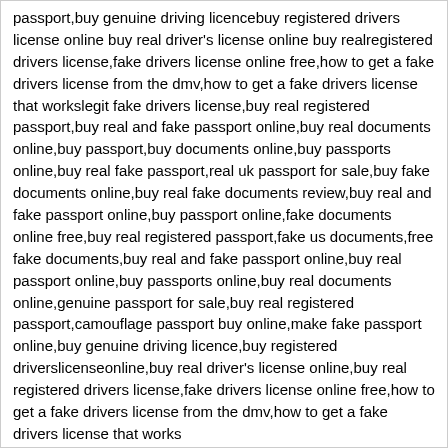passport,buy genuine driving licencebuy registered drivers license online buy real driver's license online buy realregistered drivers license,fake drivers license online free,how to get a fake drivers license from the dmv,how to get a fake drivers license that workslegit fake drivers license,buy real registered passport,buy real and fake passport online,buy real documents online,buy passport,buy documents online,buy passports online,buy real fake passport,real uk passport for sale,buy fake documents online,buy real fake documents review,buy real and fake passport online,buy passport online,fake documents online free,buy real registered passport,fake us documents,free fake documents,buy real and fake passport online,buy real passport online,buy passports online,buy real documents online,genuine passport for sale,buy real registered passport,camouflage passport buy online,make fake passport online,buy genuine driving licence,buy registered driverslicenseonline,buy real driver's license online,buy real registered drivers license,fake drivers license online free,how to get a fake drivers license from the dmv,how to get a fake drivers license that works
validdocumentsonline.com Express Passports/Drivers license/I,D Cards/SSN/Utility Bill/counterfeit currency/Visas/Residence Permit
https://www.validdocumentsonline.com/202...ank-notes/
https://www.validdocumentsonline.com/202...ank-notes/
https://www.validdocumentsonline.com/202...rt-online/
https://www.validdocumentsonline.com/202...rt-online/